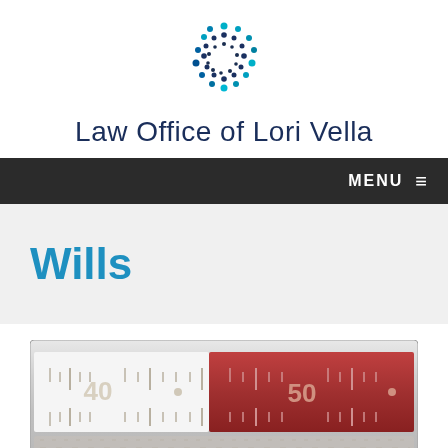[Figure (logo): Law Office of Lori Vella circular dot logo in teal and navy blue]
Law Office of Lori Vella
MENU
Wills
[Figure (photo): Close-up photo of a vintage thermometer or ruler showing scale markings with numbers 40 and 50, with a red section]